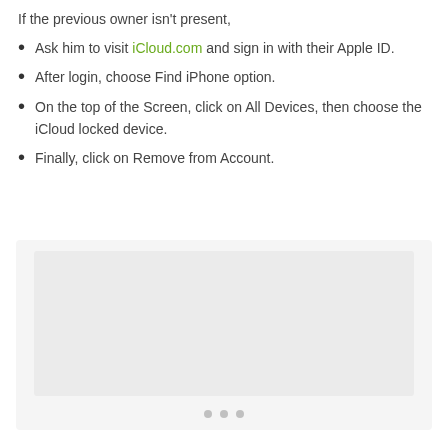If the previous owner isn't present,
Ask him to visit iCloud.com and sign in with their Apple ID.
After login, choose Find iPhone option.
On the top of the Screen, click on All Devices, then choose the iCloud locked device.
Finally, click on Remove from Account.
[Figure (screenshot): Gray placeholder image area with inner lighter rectangle and three dots at the bottom indicating a carousel or image slider]